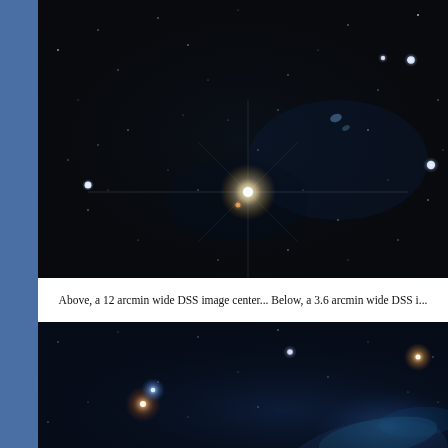[Figure (photo): DSS astronomical image, 12 arcmin wide, showing a dark star field with numerous stars of varying brightness, including one prominent bright star near the center with diffraction spikes, and several galaxies visible.]
Above, a 12 arcmin wide DSS image center... Below, a 3.6 arcmin wide DSS i...
[Figure (photo): DSS astronomical image, 3.6 arcmin wide, showing a zoomed-in dark field with stars and a prominent nebula or diffuse emission region visible in the lower right portion.]